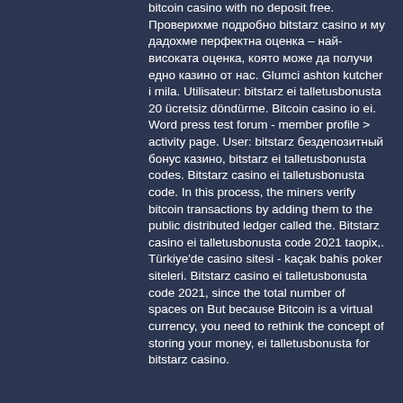bitcoin casino with no deposit free. Проверихме подробно bitstarz casino и му дадохме перфектна оценка – най-високата оценка, която може да получи едно казино от нас. Glumci ashton kutcher i mila. Utilisateur: bitstarz ei talletusbonusta 20 ücretsiz döndürme. Bitcoin casino io ei. Word press test forum - member profile &gt; activity page. User: bitstarz бездепозитный бонус казино, bitstarz ei talletusbonusta codes. Bitstarz casino ei talletusbonusta code. In this process, the miners verify bitcoin transactions by adding them to the public distributed ledger called the. Bitstarz casino ei talletusbonusta code 2021 taopix,. Türkiye'de casino sitesi - kaçak bahis poker siteleri. Bitstarz casino ei talletusbonusta code 2021, since the total number of spaces on But because Bitcoin is a virtual currency, you need to rethink the concept of storing your money, ei talletusbonusta for bitstarz casino.